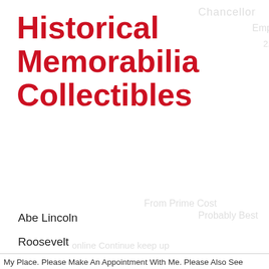Historical Memorabilia Collectibles
Abe Lincoln
Roosevelt
JFK
Benjamin Franklin
Paul Revere
Betsy Ross
My Place. Please Make An Appointment With Me. Please Also See